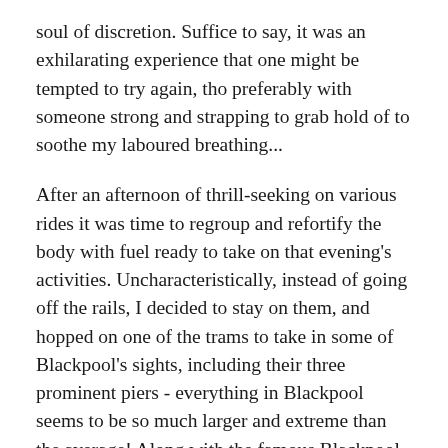soul of discretion. Suffice to say, it was an exhilarating experience that one might be tempted to try again, tho preferably with someone strong and strapping to grab hold of to soothe my laboured breathing...
After an afternoon of thrill-seeking on various rides it was time to regroup and refortify the body with fuel ready to take on that evening's activities. Uncharacteristically, instead of going off the rails, I decided to stay on them, and hopped on one of the trams to take in some of Blackpool's sights, including their three prominent piers - everything in Blackpool seems to be so much larger and extreme than the average! Along with the famous Blackpool Tower which was on the next day's visiting list.